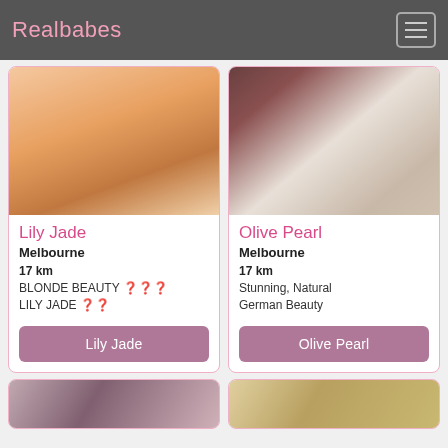Realbabes
[Figure (photo): Photo of Lily Jade - person in red lingerie]
Lily Jade
Melbourne
17 km
BLONDE BEAUTY 🌹🌹🌹 LILY JADE 🌺🌺
Lily Jade
[Figure (photo): Photo of Olive Pearl - person in white lingerie]
Olive Pearl
Melbourne
17 km
Stunning, Natural German Beauty
Olive Pearl
[Figure (photo): Partial photo bottom left card]
[Figure (photo): Partial photo bottom right card]